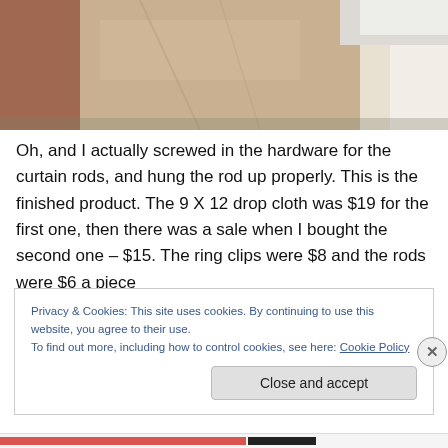[Figure (photo): Close-up photo of a curtain rod installation — fabric drop cloth curtain material near a wall/window frame, showing a beige/tan cloth and white wall trim.]
Oh, and I actually screwed in the hardware for the curtain rods, and hung the rod up properly. This is the finished product. The 9 X 12 drop cloth was $19 for the first one, then there was a sale when I bought the second one – $15. The ring clips were $8 and the rods were $6 a piece
Privacy & Cookies: This site uses cookies. By continuing to use this website, you agree to their use.
To find out more, including how to control cookies, see here: Cookie Policy